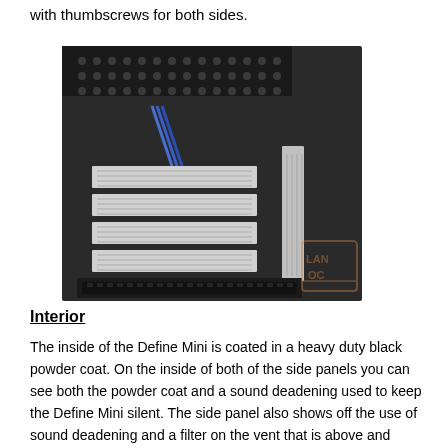with thumbscrews for both sides.
[Figure (photo): Interior view of a Define Mini PC case showing the back panel with expansion slot covers, cable routing, and PSU shroud mesh area. A LanOC watermark logo is visible in the lower right corner.]
Interior
The inside of the Define Mini is coated in a heavy duty black powder coat. On the inside of both of the side panels you can see both the powder coat and a sound deadening used to keep the Define Mini silent. The side panel also shows off the use of sound deadening and a filter on the vent that is above and beyond